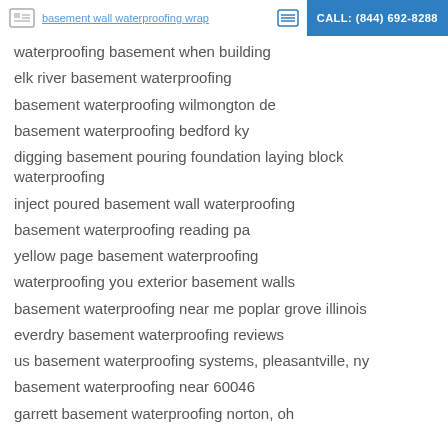basement wall waterproofing wrap | CALL: (844) 692-8288
waterproofing basement when building
elk river basement waterproofing
basement waterproofing wilmongton de
basement waterproofing bedford ky
digging basement pouring foundation laying block waterproofing
inject poured basement wall waterproofing
basement waterproofing reading pa
yellow page basement waterproofing
waterproofing you exterior basement walls
basement waterproofing near me poplar grove illinois
everdry basement waterproofing reviews
us basement waterproofing systems, pleasantville, ny
basement waterproofing near 60046
garrett basement waterproofing norton, oh